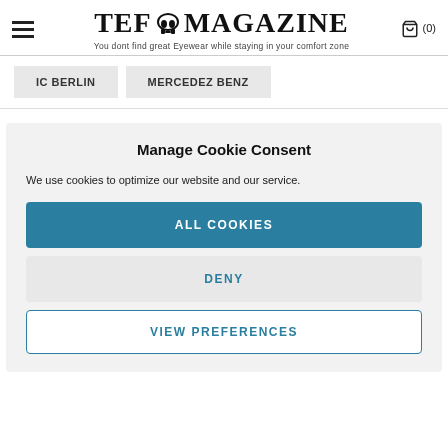TEF MAGAZINE — You dont find great Eyewear while staying in your comfort zone
IC BERLIN
MERCEDEZ BENZ
Manage Cookie Consent
We use cookies to optimize our website and our service.
ALL COOKIES
DENY
VIEW PREFERENCES